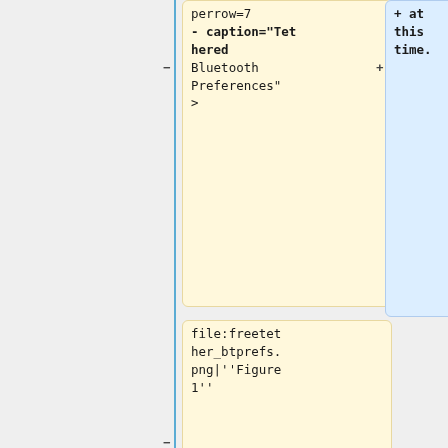perrow=7
- caption="Tethered Bluetooth Preferences"
>
+ at this time.
file:freetethe r_btprefs.png|''Figure 1''
- </gallery>
</blockquote>
</blockquote>
- <br />
===== <span